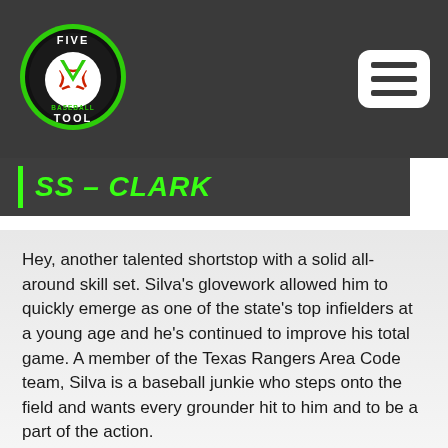[Figure (logo): Five Tool Baseball logo — circular badge with black background, green border, baseball graphic, letter V, text FIVE TOOL BASEBALL]
SS – CLARK
Hey, another talented shortstop with a solid all-around skill set. Silva's glovework allowed him to quickly emerge as one of the state's top infielders at a young age and he's continued to improve his total game. A member of the Texas Rangers Area Code team, Silva is a baseball junkie who steps onto the field and wants every grounder hit to him and to be a part of the action.
Although he's not a standout runner, 4.5 ti...